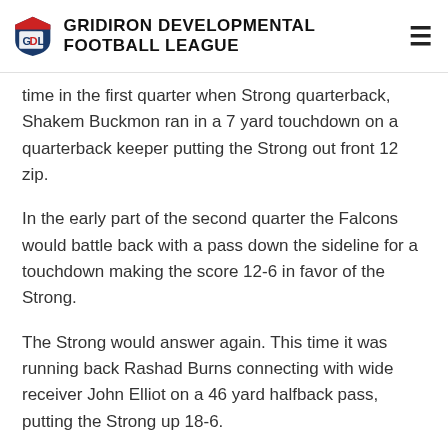GRIDIRON DEVELOPMENTAL FOOTBALL LEAGUE
time in the first quarter when Strong quarterback, Shakem Buckmon ran in a 7 yard touchdown on a quarterback keeper putting the Strong out front 12 zip.
In the early part of the second quarter the Falcons would battle back with a pass down the sideline for a touchdown making the score 12-6 in favor of the Strong.
The Strong would answer again. This time it was running back Rashad Burns connecting with wide receiver John Elliot on a 46 yard halfback pass, putting the Strong up 18-6.
Near the end of the second quarter Falcons quarterback's pass into the end zone is intercepted by Strong defensive back Jeff McDuffie Jr., but after McDuffie comes down with the ball in the